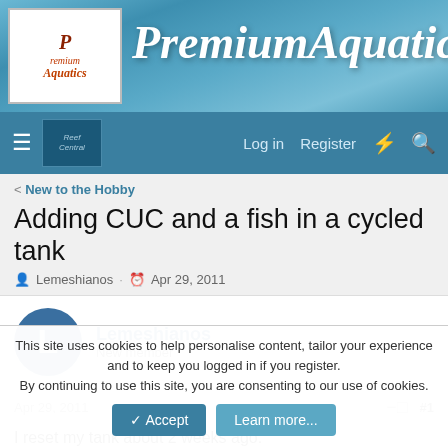[Figure (logo): PremiumAquatics website header banner with logo on left and 'PremiumAquatics' italic script title on blue aquatic background]
Log in  Register
< New to the Hobby
Adding CUC and a fish in a cycled tank
Lemeshianos · Apr 29, 2011
Lemeshianos
New member
Apr 29, 2011  #1
I reset my tank about 2 weeks ago.
This site uses cookies to help personalise content, tailor your experience and to keep you logged in if you register.
By continuing to use this site, you are consenting to our use of cookies.
✓ Accept   Learn more...